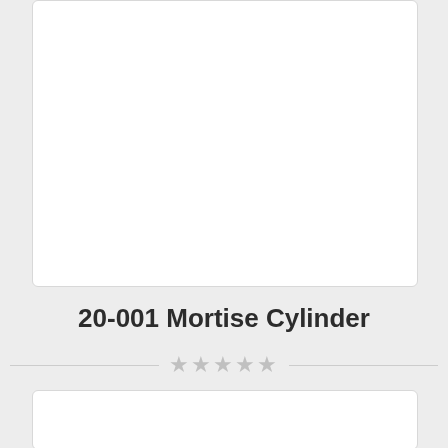[Figure (other): Top product image card (white box, partial view at top of page)]
20-001 Mortise Cylinder
★★★★★
$60.49
Add to cart
[Figure (other): Bottom product image card (white box, partially visible at bottom of page)]